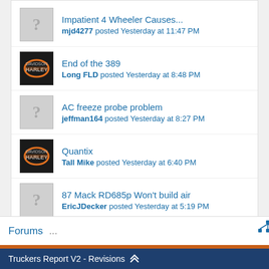Impatient 4 Wheeler Causes... mjd4277 posted Yesterday at 11:47 PM
End of the 389 Long FLD posted Yesterday at 8:48 PM
AC freeze probe problem jeffman164 posted Yesterday at 8:27 PM
Quantix Tall Mike posted Yesterday at 6:40 PM
87 Mack RD685p Won't build air EricJDecker posted Yesterday at 5:19 PM
Rand Mcnally 10" 1050 HaglerFan posted Yesterday at 2:37 PM
No success HaglerFan posted Yesterday at 2:36 PM
Forums ... Truckers Report V2 - Revisions